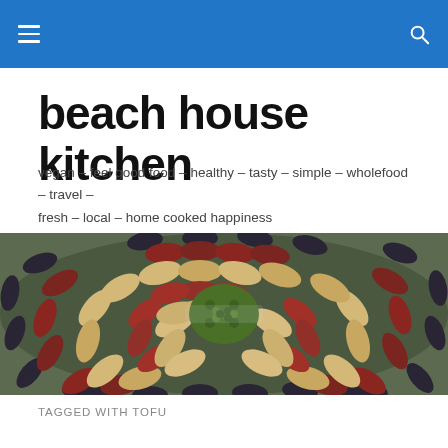beach house kitchen
vegan – feel good food – healthy – tasty – simple – wholefood – travel – fresh – local – home cooked happiness
[Figure (photo): Overhead view of various mixed legumes and beans arranged in a circular spiral pattern — red kidney beans, black beans, mung beans, cannellini beans — on a light surface]
TAGGED WITH TOFU